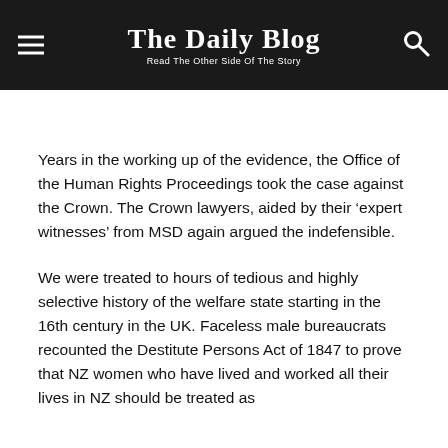The Daily Blog — Read The Other Side Of The Story
Years in the working up of the evidence, the Office of the Human Rights Proceedings took the case against the Crown. The Crown lawyers, aided by their 'expert witnesses' from MSD again argued the indefensible.
We were treated to hours of tedious and highly selective history of the welfare state starting in the 16th century in the UK. Faceless male bureaucrats recounted the Destitute Persons Act of 1847 to prove that NZ women who have lived and worked all their lives in NZ should be treated as